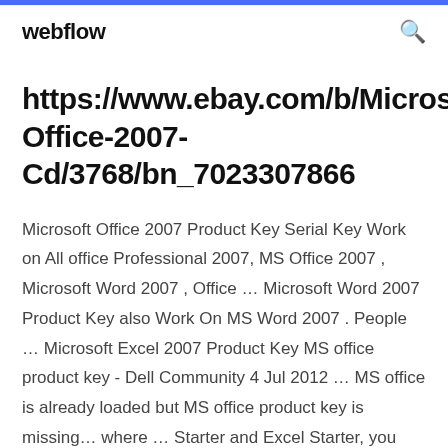webflow
https://www.ebay.com/b/Microsoft-Office-2007-Cd/3768/bn_7023307866
Microsoft Office 2007 Product Key Serial Key Work on All office Professional 2007, MS Office 2007 , Microsoft Word 2007 , Office ... Microsoft Word 2007 Product Key also Work On MS Word 2007 . People ... Microsoft Excel 2007 Product Key MS office product key - Dell Community 4 Jul 2012 ... MS office is already loaded but MS office product key is missing... where ... Starter and Excel Starter, you need to use the